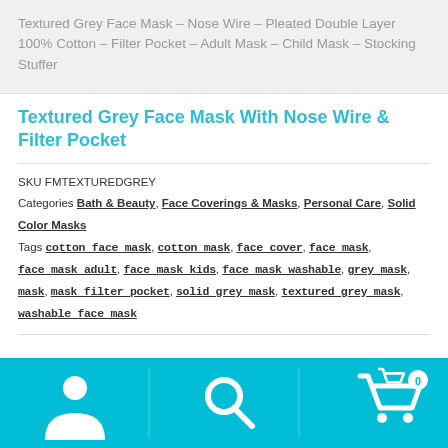Textured Grey Face Mask – Nose Wire – Pleated Double Layer 100% Cotton – Filter Pocket – Adult Mask – Child Mask – Stocking Stuffer
Textured Grey Face Mask With Nose Wire & Filter Pocket
SKU FMTEXTUREDGREY
Categories Bath & Beauty, Face Coverings & Masks, Personal Care, Solid Color Masks
Tags cotton face mask, cotton mask, face cover, face mask, face mask adult, face mask kids, face mask washable, grey mask, mask, mask filter pocket, solid grey mask, textured grey mask, washable face mask